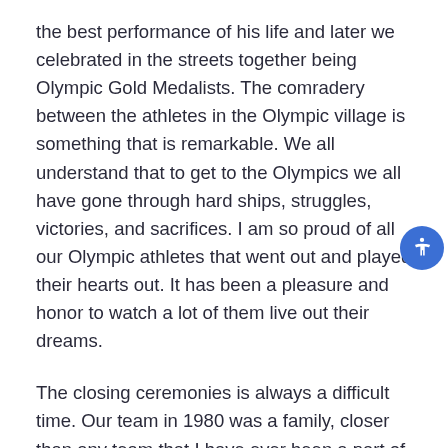the best performance of his life and later we celebrated in the streets together being Olympic Gold Medalists. The comradery between the athletes in the Olympic village is something that is remarkable. We all understand that to get to the Olympics we all have gone through hard ships, struggles, victories, and sacrifices. I am so proud of all our Olympic athletes that went out and played their hearts out. It has been a pleasure and honor to watch a lot of them live out their dreams.
The closing ceremonies is always a difficult time. Our team in 1980 was a family, closer than any team that I have ever been a part of. Once the games end everyone goes their separate ways and life continues. Although the games come to an end our team will forever be a family. Each athlete leaves a legacy that inspires a younger generation, whether you know it at the time or not. What we did in 1980 inspired athletes who competed at the Pyeongchang